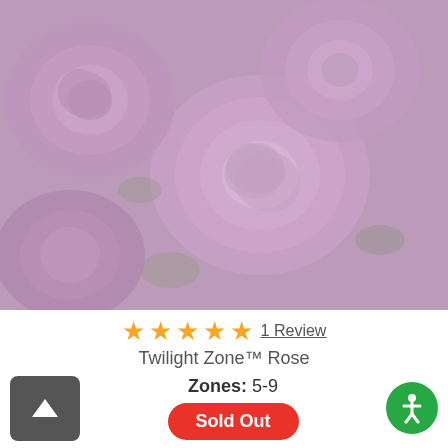[Figure (photo): Close-up photo of Twilight Zone roses with lavender/purple petals in a muted, slightly faded tone]
★★★★★ 1 Review
Twilight Zone™ Rose
Zones: 5-9
Sold Out